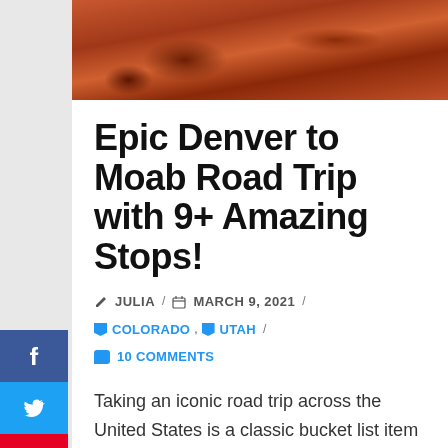[Figure (photo): Red/orange sandstone rock formation, close-up aerial or ground-level view — hero image for road trip article]
Epic Denver to Moab Road Trip with 9+ Amazing Stops!
✏ JULIA / 📅 MARCH 9, 2021 / 🏷 COLORADO, 🏷 UTAH / 💬 10 COMMENTS
Taking an iconic road trip across the United States is a classic bucket list item for so many people. The biggest challenge is determining where to go!